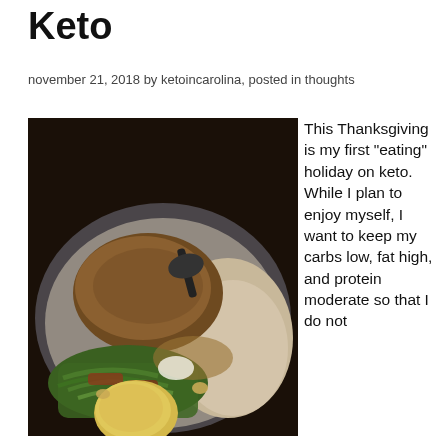Keto
november 21, 2018 by ketoincarolina, posted in thoughts
[Figure (photo): A plate of Thanksgiving food including green beans with bacon, a potato, turkey, stuffing, and gravy in a cast iron pan]
This Thanksgiving is my first "eating" holiday on keto. While I plan to enjoy myself, I want to keep my carbs low, fat high, and protein moderate so that I do not